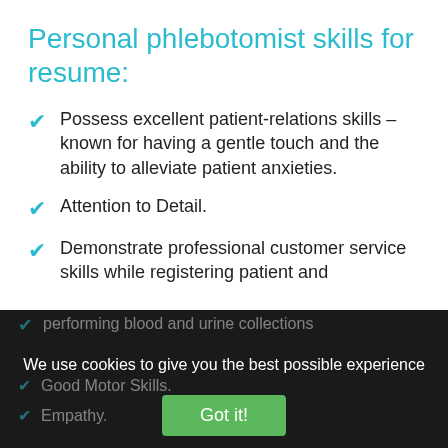Personal phlebotomist skills for resume:
Possess excellent patient-relations skills – known for having a gentle touch and the ability to alleviate patient anxieties.
Attention to Detail.
Demonstrate professional customer service skills while registering patient and performing blood and urine collections
Good Motor Skills.
Empathy.
We use cookies to give you the best possible experience on our website. Read our Terms and Privacy Policy to learn more.